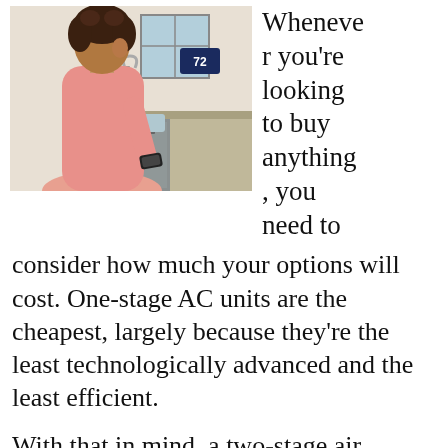[Figure (photo): A woman in a pink top using a smartphone in a kitchen, with a smart thermostat showing 72 degrees visible on the wall.]
Whenever you're looking to buy anything, you need to consider how much your options will cost. One-stage AC units are the cheapest, largely because they're the least technologically advanced and the least efficient.
With that in mind, a two-stage air conditioner is significantly cheaper than a variable one. As expected, the variable unit will always be more expensive because it